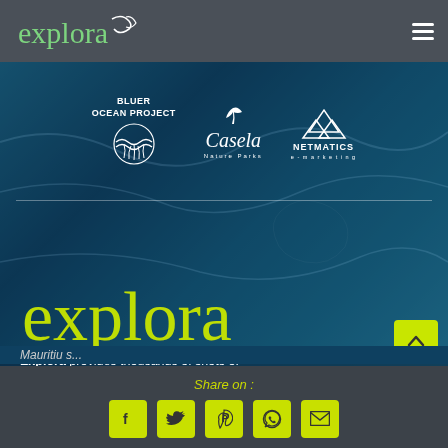[Figure (logo): Explora logo in green cursive script with white curl/fish icon on dark gray header bar]
[Figure (screenshot): Blue ocean aerial photo background with three partner logos: Bluer Ocean Project, Casela Nature Parks, Netmatics e-marketing. Below divider: large Explora logo in green cursive with white outline island shape. Text: Explora provides thousands of shots of Mauritius...]
Explora provides thousands of shots of Mauritius...
Share on :
[Figure (infographic): Row of 5 yellow-green social media icon buttons: Facebook, Twitter, Pinterest, WhatsApp, Email]